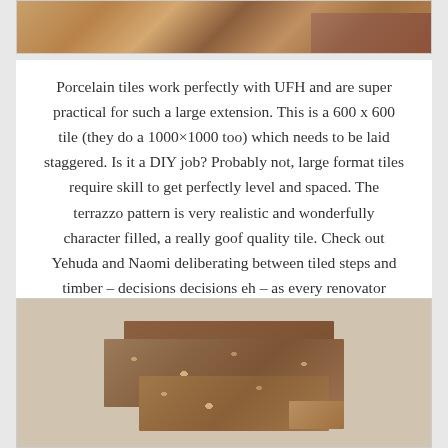[Figure (photo): Partial view of wooden flooring with parquet/herringbone pattern and what appears to be a rug or carpet edge, shown as a cropped top portion of image]
Porcelain tiles work perfectly with UFH and are super practical for such a large extension. This is a 600 x 600 tile (they do a 1000×1000 too) which needs to be laid staggered. Is it a DIY job? Probably not, large format tiles require skill to get perfectly level and spaced. The terrazzo pattern is very realistic and wonderfully character filled, a really goof quality tile. Check out Yehuda and Naomi deliberating between tiled steps and timber – decisions decisions eh – as every renovator knows, they blow your mind!
[Figure (photo): Terrazzo-style tile samples stacked on top of each other showing speckled brown/tan pattern with aggregate inclusions, displayed against a light grey background]